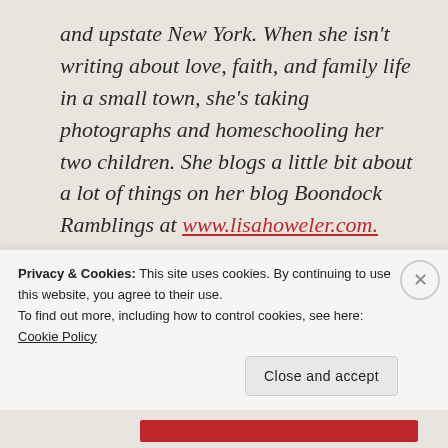and upstate New York. When she isn't writing about love, faith, and family life in a small town, she's taking photographs and homeschooling her two children. She blogs a little bit about a lot of things on her blog Boondock Ramblings at www.lisahoweler.com.
Advertisements
[Figure (other): Pressable advertisement banner with blue top bar and Pressable logo]
Privacy & Cookies: This site uses cookies. By continuing to use this website, you agree to their use.
To find out more, including how to control cookies, see here: Cookie Policy